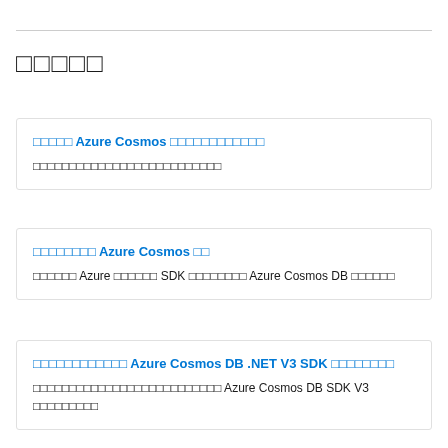□□□□□
□□□□□ Azure Cosmos □□□□□□□□□□□□
□□□□□□□□□□□□□□□□□□□□□□□□□□
□□□□□□□□ Azure Cosmos □□
□□□□□□ Azure □□□□□□ SDK □□□□□□□□ Azure Cosmos DB □□□□□□
□□□□□□□□□□□□ Azure Cosmos DB .NET V3 SDK □□□□□□□□
□□□□□□□□□□□□□□□□□□□□□□□□□□ Azure Cosmos DB SDK V3 □□□□□□□□□